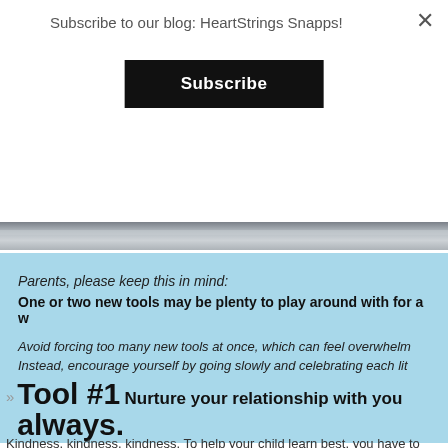Subscribe to our blog: HeartStrings Snapps!
Subscribe
[Figure (photo): Decorative horizontal image strip with gray gradient]
Parents, please keep this in mind: One or two new tools may be plenty to play around with for a while. Avoid forcing too many new tools at once, which can feel overwhelming. Instead, encourage yourself by going slowly and celebrating each little success.
Tool #1 Nurture your relationship with your child, always.
Kindness, kindness, kindness. To help your child learn best, you have to nurture your relationship. Your child is your magic key to unlocking their trust in you. Growing your relationship with your child will strongly benefit their learning, as well as their happiness and success.